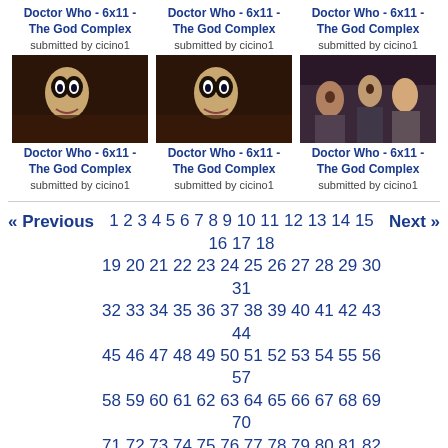Doctor Who - 6x11 - The God Complex
submitted by cicino1
[Figure (photo): Dark scene with puppet/mannequin face]
Doctor Who - 6x11 - The God Complex
submitted by cicino1
Doctor Who - 6x11 - The God Complex
submitted by cicino1
[Figure (photo): Dark scene with puppet/mannequin face]
Doctor Who - 6x11 - The God Complex
submitted by cicino1
Doctor Who - 6x11 - The God Complex
submitted by cicino1
[Figure (photo): Group of people in a room scene]
Doctor Who - 6x11 - The God Complex
submitted by cicino1
« Previous  1 2 3 4 5 6 7 8 9 10 11 12 13 14 15 16 17 18 19 20 21 22 23 24 25 26 27 28 29 30 31 32 33 34 35 36 37 38 39 40 41 42 43 44 45 46 47 48 49 50 51 52 53 54 55 56 57 58 59 60 61 62 63 64 65 66 67 68 69 70 71 72 73 74 75 76 77 78 79 80 81 82 83 84 85 86 87 88 89 90 91 92 93 94 95 96 97 98 99 100 101 102 103 104 105 106 107 108 109 110 111 112 113 114 115 116 117 118 119 120 121 122 123 124 125 126 127 128 129 130 131 132 133 134 135 136 137 138 139 140 141 142 143 144 145 146 147 148 149 150 151 152 153 154 155 156 157 158 159 160 161 162 163 164 165 166 167 168  Next »